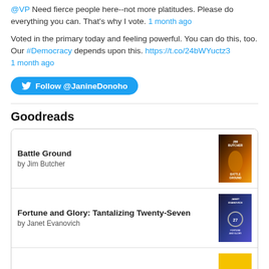@VP Need fierce people here--not more platitudes. Please do everything you can. That's why I vote. 1 month ago
Voted in the primary today and feeling powerful. You can do this, too. Our #Democracy depends upon this. https://t.co/24bWYuctz3 1 month ago
Follow @JanineDonoho
Goodreads
Battle Ground by Jim Butcher
Fortune and Glory: Tantalizing Twenty-Seven by Janet Evanovich
Innate Magic